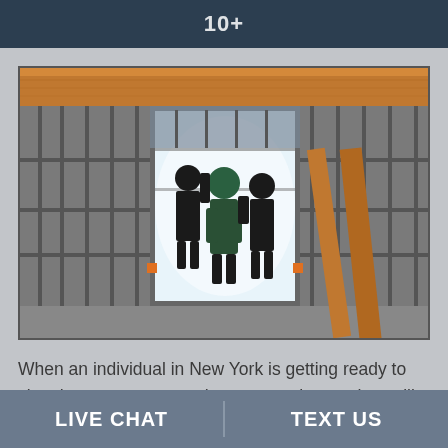10+
[Figure (photo): Interior of a building under construction showing metal stud framing, wood beams, and three workers silhouetted against a bright window opening in the center of the frame.]
When an individual in New York is getting ready to sign the contract to purchase a new home, they will have to hire a professional that can effectively
LIVE CHAT | TEXT US